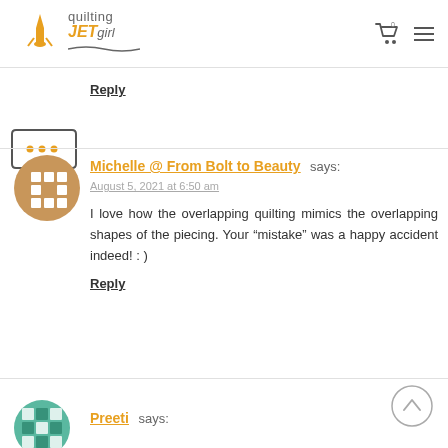quilting JETgirl
Reply
[Figure (illustration): Speech bubble icon with three dots]
[Figure (illustration): Avatar with snowflake/geometric pattern in orange and white]
Michelle @ From Bolt to Beauty says:
August 5, 2021 at 6:50 am
I love how the overlapping quilting mimics the overlapping shapes of the piecing. Your “mistake” was a happy accident indeed! : )
Reply
[Figure (illustration): Avatar with teal/green geometric pattern]
Preeti says:
[Figure (illustration): Back to top chevron button circle]